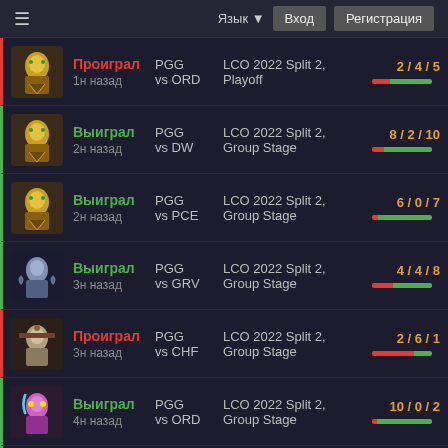≡  Язык ▼  Вход  Регистрация
| Champion | Result | Team | League | KDA |
| --- | --- | --- | --- | --- |
| Sivir | Проиграл
1н назад | PGG
vs ORD | LCO 2022 Split 2, Playoff | 2 / 4 / 5 |
| Sivir | Выиграл
2н назад | PGG
vs DW | LCO 2022 Split 2, Group Stage | 8 / 2 / 10 |
| Sivir | Выиграл
2н назад | PGG
vs PCE | LCO 2022 Split 2, Group Stage | 6 / 0 / 7 |
| Sylas | Выиграл
3н назад | PGG
vs GRV | LCO 2022 Split 2, Group Stage | 4 / 4 / 8 |
| Caitlyn | Проиграл
3н назад | PGG
vs CHF | LCO 2022 Split 2, Group Stage | 2 / 6 / 1 |
| Jinx | Выиграл
4н назад | PGG
vs ORD | LCO 2022 Split 2, Group Stage | 10 / 0 / 2 |
| Sivir | Выиграл
4н назад | PGG
vs MEC | LCO 2022 Split 2, Group Stage | 2 / 2 / 15 |